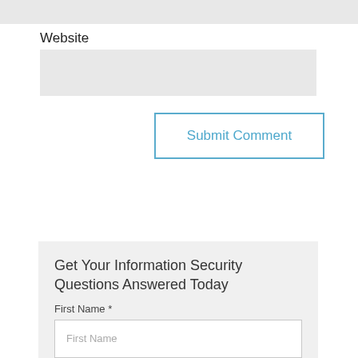Website
[Figure (screenshot): Website text input field (gray background, empty)]
[Figure (screenshot): Submit Comment button with blue border and blue text]
Get Your Information Security Questions Answered Today
First Name *
[Figure (screenshot): First Name text input field with placeholder text 'First Name']